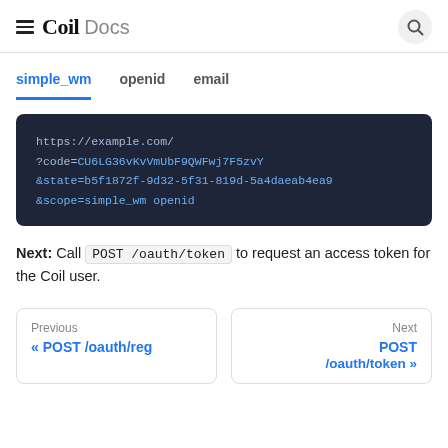Coil Docs
simple_wm | openid | email
[Figure (screenshot): Dark code block showing URL: https://example.com/?code=CU6LG36vKvVmUbF9QWFwj7F5zvY&state=b5f1872f-9d32-5f31-819d-5a4daeab4ea9&scope=simple_wm openid]
Next: Call POST /oauth/token to request an access token for the Coil user.
Previous « POST /oauth/reg | Next POST /oauth/token »